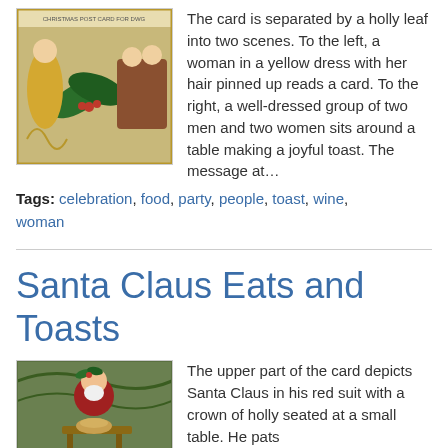[Figure (photo): Vintage Christmas postcard showing two scenes separated by a holly leaf: a woman in a yellow dress with hair pinned up reading a card on the left, and a group of two men and two women making a joyful toast on the right.]
The card is separated by a holly leaf into two scenes. To the left, a woman in a yellow dress with her hair pinned up reads a card. To the right, a well-dressed group of two men and two women sits around a table making a joyful toast. The message at…
Tags: celebration, food, party, people, toast, wine, woman
Santa Claus Eats and Toasts
[Figure (photo): Vintage Christmas postcard showing Santa Claus in his red suit with a crown of holly seated at a small table.]
The upper part of the card depicts Santa Claus in his red suit with a crown of holly seated at a small table. He pats